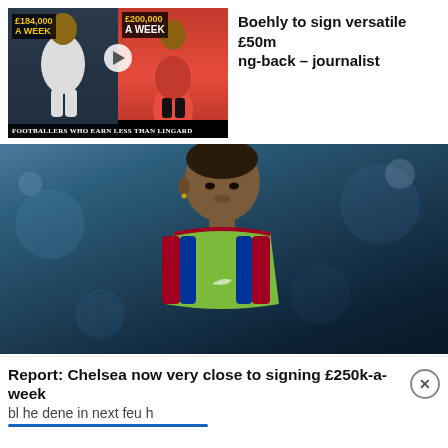[Figure (screenshot): YouTube thumbnail showing two footballers with salary text overlays: £184,000 A Week and £200,000 A Week, captioned FOOTBALLERS WHO EARN LESS THAN LINGARD]
Boehly to sign versatile £50m ng-back – journalist
[Figure (photo): Close-up photo of a footballer wearing a Barcelona training bib (green) over a red and blue striped shirt, looking to the right against a blurred stadium background]
Report: Chelsea now very close to signing £250k-a-week
bl he dene in next feu h